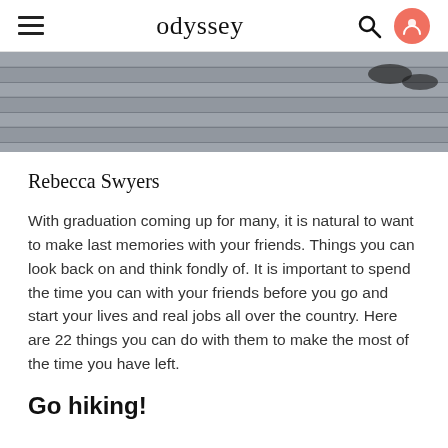odyssey
[Figure (photo): Overhead view of wooden deck/boardwalk planks with some objects visible at the upper right]
Rebecca Swyers
With graduation coming up for many, it is natural to want to make last memories with your friends. Things you can look back on and think fondly of. It is important to spend the time you can with your friends before you go and start your lives and real jobs all over the country. Here are 22 things you can do with them to make the most of the time you have left.
Go hiking!